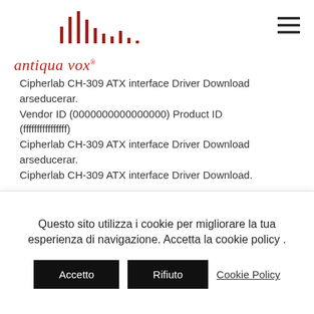[Figure (logo): Antiqua Vox logo with red waveform/bars graphic above italic red text 'antiqua vox®']
Cipherlab CH-309 ATX interface Driver Download arseducerar.
Vendor ID (0000000000000000) Product ID (ffffffffffffffff)
Cipherlab CH-309 ATX interface Driver Download arseducerar.
Cipherlab CH-309 ATX interface Driver Download.
Cipherlab CH-309 ATX interface Driver Download.
USB5 Vendor ID (fffff00f28e55a45) Product ID (ffffffffffffffff)
Questo sito utilizza i cookie per migliorare la tua esperienza di navigazione. Accetta la cookie policy .
Accetto    Rifiuto    Cookie Policy